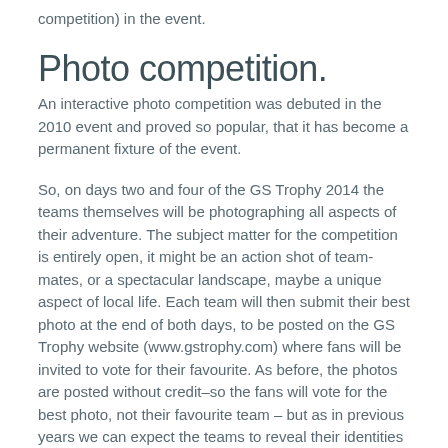competition) in the event.
Photo competition.
An interactive photo competition was debuted in the 2010 event and proved so popular, that it has become a permanent fixture of the event.
So, on days two and four of the GS Trophy 2014 the teams themselves will be photographing all aspects of their adventure. The subject matter for the competition is entirely open, it might be an action shot of team-mates, or a spectacular landscape, maybe a unique aspect of local life. Each team will then submit their best photo at the end of both days, to be posted on the GS Trophy website (www.gstrophy.com) where fans will be invited to vote for their favourite. As before, the photos are posted without credit–so the fans will vote for the best photo, not their favourite team – but as in previous years we can expect the teams to reveal their identities one way or another...